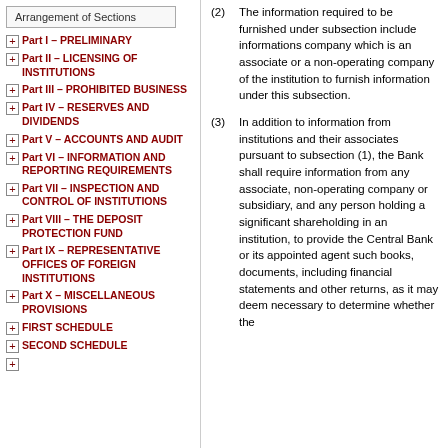Arrangement of Sections
Part I – PRELIMINARY
Part II – LICENSING OF INSTITUTIONS
Part III – PROHIBITED BUSINESS
Part IV – RESERVES AND DIVIDENDS
Part V – ACCOUNTS AND AUDIT
Part VI – INFORMATION AND REPORTING REQUIREMENTS
Part VII – INSPECTION AND CONTROL OF INSTITUTIONS
Part VIII – THE DEPOSIT PROTECTION FUND
Part IX – REPRESENTATIVE OFFICES OF FOREIGN INSTITUTIONS
Part X – MISCELLANEOUS PROVISIONS
FIRST SCHEDULE
SECOND SCHEDULE
(2) The information required to be furnished under sub... include information... company which is a... associate or a non-... company of the inst... furnish information... subsection.
(3) In addition to inform... institutions and thei... pursuant to subsec... Bank shall require i... associate, non-oper... company or subsidi... any person holding... shareholding in an i... provide the Central... appointed agent su... documents, includin... statements and oth... as it may deem nec... determine whether...